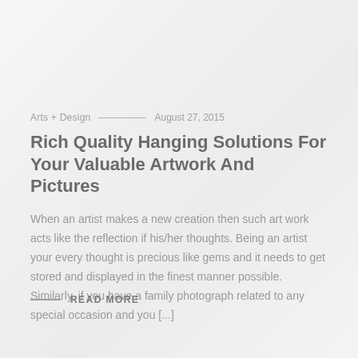[Figure (photo): Faded grayscale background photo of a person (artist/designer) working at a desk, heavily overlaid with white to create a washed-out effect]
Arts + Design — August 27, 2015
Rich Quality Hanging Solutions For Your Valuable Artwork And Pictures
When an artist makes a new creation then such art work acts like the reflection if his/her thoughts. Being an artist your every thought is precious like gems and it needs to get stored and displayed in the finest manner possible. Similarly, if you have a family photograph related to any special occasion and you [...]
READ MORE